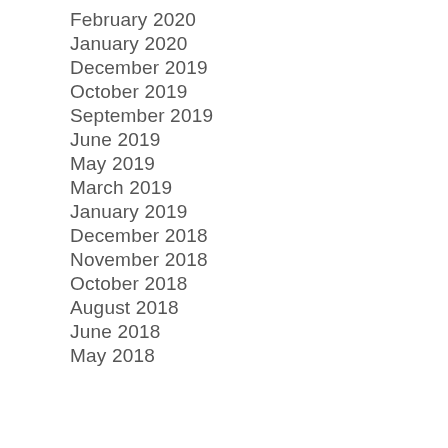February 2020
January 2020
December 2019
October 2019
September 2019
June 2019
May 2019
March 2019
January 2019
December 2018
November 2018
October 2018
August 2018
June 2018
May 2018